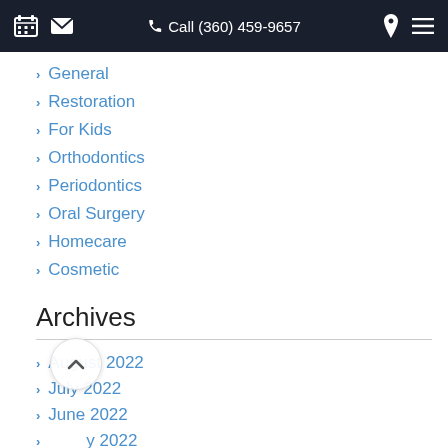Call (360) 459-9657
General
Restoration
For Kids
Orthodontics
Periodontics
Oral Surgery
Homecare
Cosmetic
Archives
August 2022
July 2022
June 2022
May 2022
April 2022
March 2022
February 2022